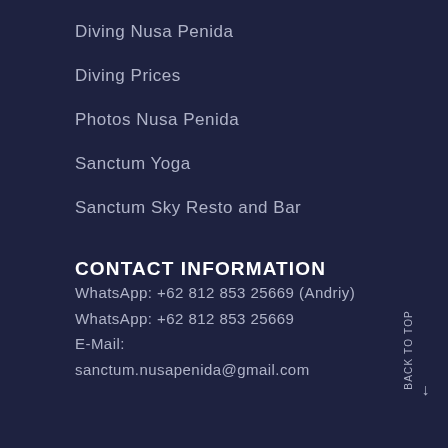Diving Nusa Penida
Diving Prices
Photos Nusa Penida
Sanctum Yoga
Sanctum Sky Resto and Bar
CONTACT INFORMATION
WhatsApp: +62 812 853 25669 (Andriy)
WhatsApp: +62 812 853 25669
E-Mail:
sanctum.nusapenida@gmail.com
BACK TO TOP ↑